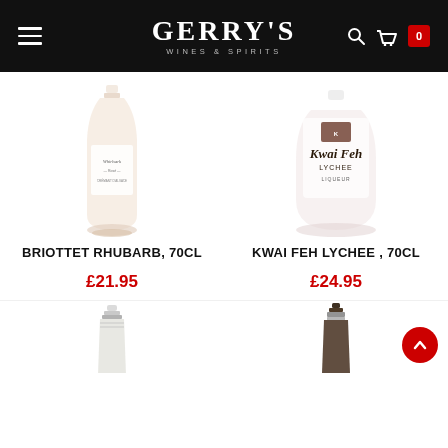Gerry's Wines & Spirits – navigation header with hamburger menu, logo, search and basket (0 items)
[Figure (photo): Bottle of Briottet Rhubarb liqueur, 70cl – tall slender glass bottle with pale pink liquid and white label]
[Figure (photo): Bottle of Kwai Feh Lychee liqueur, 70cl – wide squat frosted glass bottle with dark script label]
BRIOTTET RHUBARB, 70CL
£21.95
KWAI FEH LYCHEE , 70CL
£24.95
[Figure (photo): Top portion of a sparkling wine or champagne bottle, partially cropped]
[Figure (photo): Top portion of a dark spirit bottle, partially cropped]